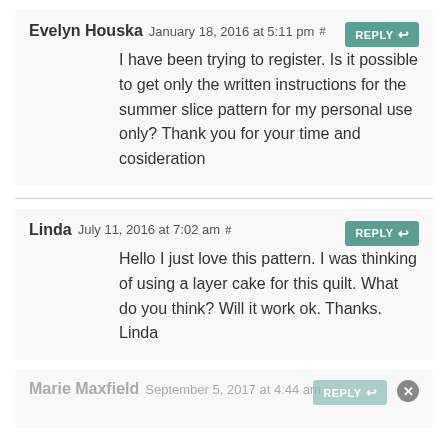Evelyn Houska January 18, 2016 at 5:11 pm # REPLY
I have been trying to register. Is it possible to get only the written instructions for the summer slice pattern for my personal use only? Thank you for your time and cosideration
Linda July 11, 2016 at 7:02 am # REPLY
Hello I just love this pattern. I was thinking of using a layer cake for this quilt. What do you think? Will it work ok. Thanks. Linda
Marie Maxfield September 5, 2017 at 4:44 am REPLY